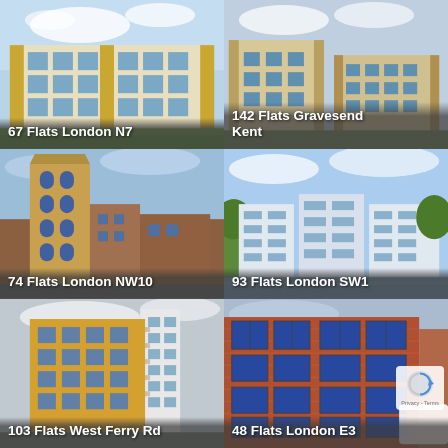[Figure (photo): Exterior rendering of a modern residential apartment building, London N7. Yellow and glass facade with landscaping.]
67 Flats London N7
[Figure (photo): Exterior rendering of residential apartment blocks, Gravesend Kent. Multiple buildings with yellow brick facades.]
142 Flats Gravesend Kent
[Figure (photo): Exterior photo of a tall converted warehouse/residential building, London NW10. Brick construction with arched windows.]
74 Flats London NW10
[Figure (photo): Exterior photo of modern white residential buildings along a river, London SW1.]
93 Flats London SW1
[Figure (photo): Exterior photo of a tall modern residential building with yellow and white cladding, West Ferry Rd.]
103 Flats West Ferry Rd
[Figure (photo): Exterior photo of a red brick residential/mixed-use building, London E3. Large windows, industrial conversion style.]
48 Flats London E3